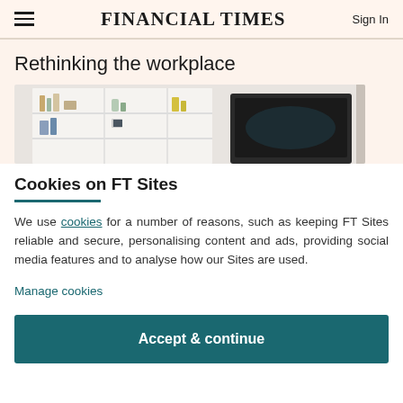FINANCIAL TIMES
Rethinking the workplace
[Figure (photo): Photo of an office interior with white shelving units displaying books and decorative items, and a large dark monitor/screen visible]
Cookies on FT Sites
We use cookies for a number of reasons, such as keeping FT Sites reliable and secure, personalising content and ads, providing social media features and to analyse how our Sites are used.
Manage cookies
Accept & continue